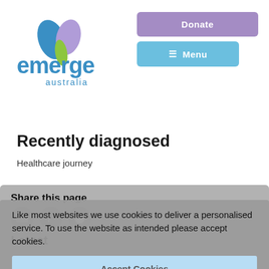[Figure (logo): Emerge Australia logo with heart shape in blue, purple, and green, with 'emerge australia' text in blue]
[Figure (other): Donate button (purple) and Menu button (blue) in the top right corner]
Recently diagnosed
Healthcare journey
Share this page
[Figure (other): Three social share icon circles: email, Facebook, Twitter]
Latest
Like most websites we use cookies to deliver a personalised service. To use the website as intended please accept cookies.
Accept Cookies
Shine a Light On ME/CFS